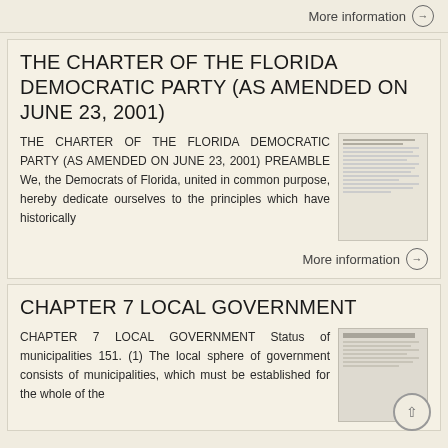More information →
THE CHARTER OF THE FLORIDA DEMOCRATIC PARTY (AS AMENDED ON JUNE 23, 2001)
THE CHARTER OF THE FLORIDA DEMOCRATIC PARTY (AS AMENDED ON JUNE 23, 2001) PREAMBLE We, the Democrats of Florida, united in common purpose, hereby dedicate ourselves to the principles which have historically
More information →
CHAPTER 7 LOCAL GOVERNMENT
CHAPTER 7 LOCAL GOVERNMENT Status of municipalities 151. (1) The local sphere of government consists of municipalities, which must be established for the whole of the